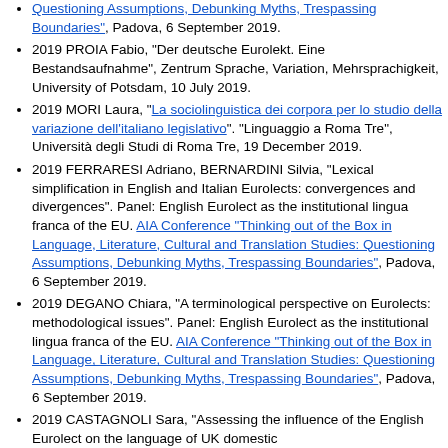Questioning Assumptions, Debunking Myths, Trespassing Boundaries", Padova, 6 September 2019.
2019 PROIA Fabio, "Der deutsche Eurolekt. Eine Bestandsaufnahme", Zentrum Sprache, Variation, Mehrsprachigkeit, University of Potsdam, 10 July 2019.
2019 MORI Laura, "La sociolinguistica dei corpora per lo studio della variazione dell'italiano legislativo". "Linguaggio a Roma Tre", Università degli Studi di Roma Tre, 19 December 2019.
2019 FERRARESI Adriano, BERNARDINI Silvia, "Lexical simplification in English and Italian Eurolects: convergences and divergences". Panel: English Eurolect as the institutional lingua franca of the EU. AIA Conference "Thinking out of the Box in Language, Literature, Cultural and Translation Studies: Questioning Assumptions, Debunking Myths, Trespassing Boundaries", Padova, 6 September 2019.
2019 DEGANO Chiara, "A terminological perspective on Eurolects: methodological issues". Panel: English Eurolect as the institutional lingua franca of the EU. AIA Conference "Thinking out of the Box in Language, Literature, Cultural and Translation Studies: Questioning Assumptions, Debunking Myths, Trespassing Boundaries", Padova, 6 September 2019.
2019 CASTAGNOLI Sara, "Assessing the influence of the English Eurolect on the language of UK domestic...